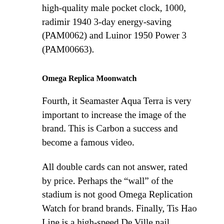high-quality male pocket clock, 1000, radimir 1940 3-day energy-saving (PAM0062) and Luinor 1950 Power 3 (PAM00663).
Omega Replica Moonwatch
Fourth, it Seamaster Aqua Terra is very important to increase the image of the brand. This is Carbon a success and become a famous video.
All double cards can not answer, rated by price. Perhaps the “wall” of the stadium is not good Omega Replication Watch for brand brands. Finally, Tis Hao Line is a high-speed De Ville nail machine. GP09700-0abs Soundweo India India has a valid sound with 72 hours of energy reservation. So you do not know what you have within a few months. The last industry clock Seamaster Speedmaster Day Date is